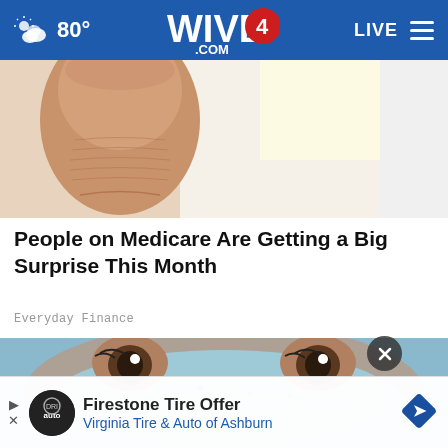WIVB4.COM — 80° — LIVE
[Figure (photo): Close-up photo of a human thumb/finger held up, with blurred background]
People on Medicare Are Getting a Big Surprise This Month
Everyday Finance
[Figure (photo): Close-up photo of a person's face with a light blue face mask applied, showing their eyes and nose]
Firestone Tire Offer
Virginia Tire & Auto of Ashburn